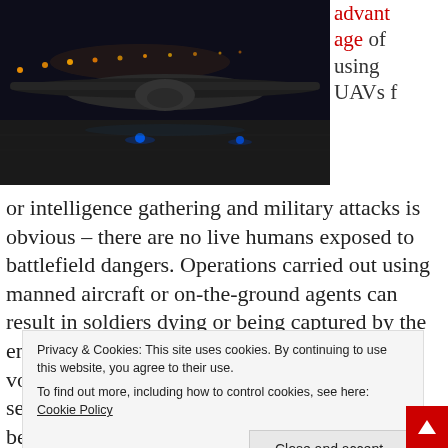[Figure (photo): A military drone (UAV) on a tarmac at night, illuminated by orange airport lights in the background and blue lights on the runway.]
advantage of using UAVs for intelligence gathering and military attacks is obvious – there are no live humans exposed to battlefield dangers. Operations carried out using manned aircraft or on-the-ground agents can result in soldiers dying or being captured by the enemy. That can be difficult to explain to the voters at home. Even worse, it can result in a serious diplomatic incident if the mission is being carried out on the territory of a neutral or ostensibly
Privacy & Cookies: This site uses cookies. By continuing to use this website, you agree to their use.
To find out more, including how to control cookies, see here: Cookie Policy
Close and accept